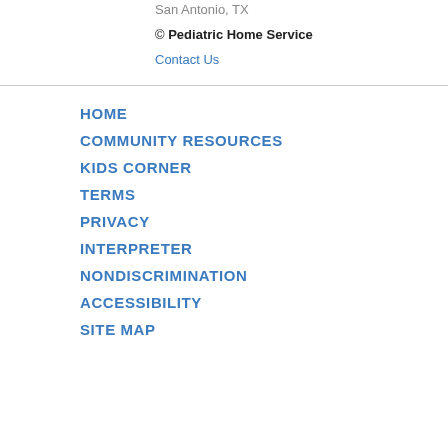© Pediatric Home Service
Contact Us
HOME
COMMUNITY RESOURCES
KIDS CORNER
TERMS
PRIVACY
INTERPRETER
NONDISCRIMINATION
ACCESSIBILITY
SITE MAP